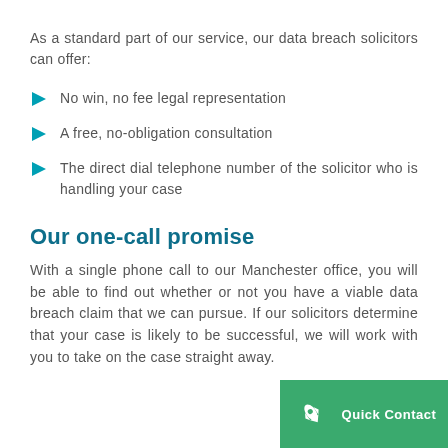As a standard part of our service, our data breach solicitors can offer:
No win, no fee legal representation
A free, no-obligation consultation
The direct dial telephone number of the solicitor who is handling your case
Our one-call promise
With a single phone call to our Manchester office, you will be able to find out whether or not you have a viable data breach claim that we can pursue. If our solicitors determine that your case is likely to be successful, we will work with you to take on the case straight away.